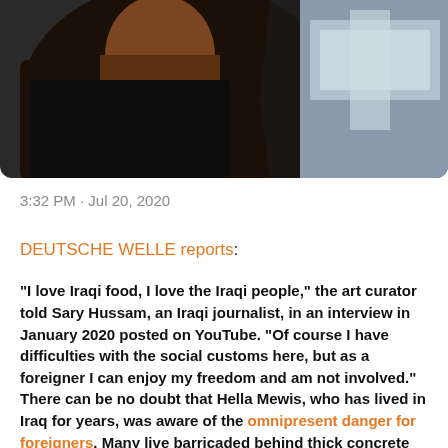[Figure (photo): Cropped photo showing a person in dark clothing, partially visible, with blurred background.]
3:32 PM · Jul 20, 2020
DEUTSCHE WELLE reports:
"I love Iraqi food, I love the Iraqi people," the art curator told Sary Hussam, an Iraqi journalist, in an interview in January 2020 posted on YouTube. "Of course I have difficulties with the social customs here, but as a foreigner I can enjoy my freedom and am not involved."
There can be no doubt that Hella Mewis, who has lived in Iraq for years, was aware of the omnipresent danger for foreigners. Many live barricaded behind thick concrete walls and barbed wire, protected and escorted by armed security personnel. Not so Hella Mewis, "I...